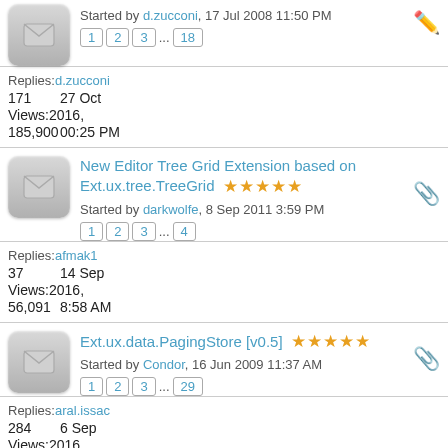Started by d.zucconi, 17 Jul 2008 11:50 PM
Replies: d.zucconi
171    27 Oct
Views: 2016,
185,900   00:25 PM
New Editor Tree Grid Extension based on Ext.ux.tree.TreeGrid
Started by darkwolfe, 8 Sep 2011 3:59 PM
Replies: afmak1
37      14 Sep
Views: 2016,
56,091   8:58 AM
Ext.ux.data.PagingStore [v0.5]
Started by Condor, 16 Jun 2009 11:37 AM
Replies: aral.issac
284    6 Sep
Views: 2016,